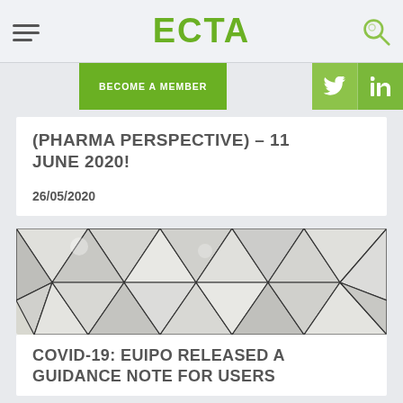ECTA
(PHARMA PERSPECTIVE) – 11 JUNE 2020!
26/05/2020
[Figure (photo): Abstract geometric pattern with white triangular polygonal shapes and dark edges, resembling a 3D faceted surface]
COVID-19: EUIPO RELEASED A GUIDANCE NOTE FOR USERS